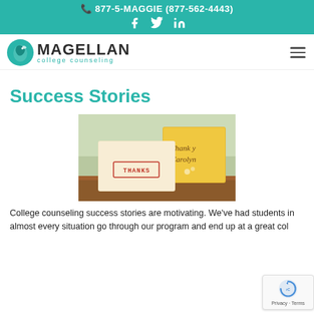877-5-MAGGIE (877-562-4443)
[Figure (logo): Magellan College Counseling logo with teal bird icon and text 'MAGELLAN college counseling']
Success Stories
[Figure (photo): Photo of thank-you cards on a wooden surface: a cream-colored card stamped with 'THANKS' in red and a yellow card with cursive text 'Thank you Carolyn']
College counseling success stories are motivating. We've had students in almost every situation go through our program and end up at a great col...